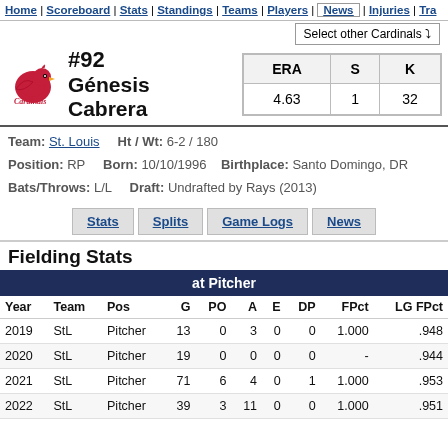Home | Scoreboard | Stats | Standings | Teams | Players | News | Injuries | Tra...
Select other Cardinals
#92 Génesis Cabrera
| ERA | S | K |
| --- | --- | --- |
| 4.63 | 1 | 32 |
Team: St. Louis   Ht / Wt: 6-2 / 180
Position: RP   Born: 10/10/1996   Birthplace: Santo Domingo, DR
Bats/Throws: L/L   Draft: Undrafted by Rays (2013)
Stats | Splits | Game Logs | News
Fielding Stats
| Year | Team | Pos | G | PO | A | E | DP | FPct | LG FPct |
| --- | --- | --- | --- | --- | --- | --- | --- | --- | --- |
| 2019 | StL | Pitcher | 13 | 0 | 3 | 0 | 0 | 1.000 | .948 |
| 2020 | StL | Pitcher | 19 | 0 | 0 | 0 | 0 | - | .944 |
| 2021 | StL | Pitcher | 71 | 6 | 4 | 0 | 1 | 1.000 | .953 |
| 2022 | StL | Pitcher | 39 | 3 | 11 | 0 | 0 | 1.000 | .951 |